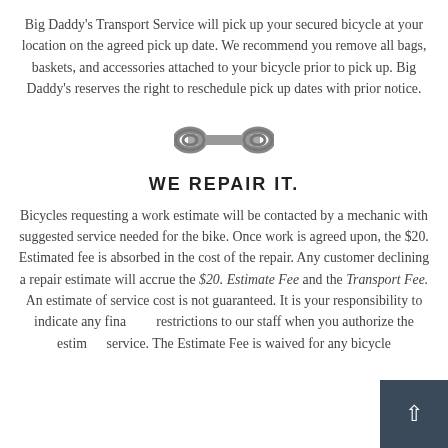Big Daddy's Transport Service will pick up your secured bicycle at your location on the agreed pick up date. We recommend you remove all bags, baskets, and accessories attached to your bicycle prior to pick up. Big Daddy's reserves the right to reschedule pick up dates with prior notice.
[Figure (illustration): Wrench / spanner icon in gray]
WE REPAIR IT.
Bicycles requesting a work estimate will be contacted by a mechanic with suggested service needed for the bike. Once work is agreed upon, the $20. Estimated fee is absorbed in the cost of the repair. Any customer declining a repair estimate will accrue the $20. Estimate Fee and the Transport Fee. An estimate of service cost is not guaranteed. It is your responsibility to indicate any financial restrictions to our staff when you authorize the estimate service. The Estimate Fee is waived for any bicycle